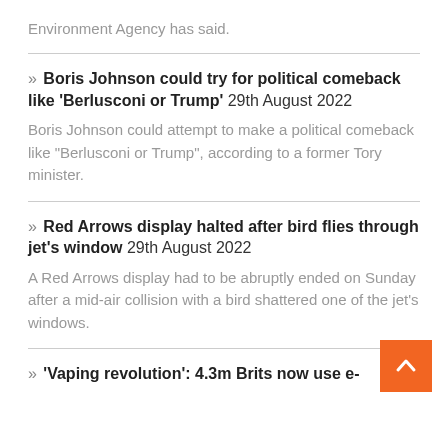Environment Agency has said.
» Boris Johnson could try for political comeback like 'Berlusconi or Trump' 29th August 2022 — Boris Johnson could attempt to make a political comeback like "Berlusconi or Trump", according to a former Tory minister.
» Red Arrows display halted after bird flies through jet's window 29th August 2022 — A Red Arrows display had to be abruptly ended on Sunday after a mid-air collision with a bird shattered one of the jet's windows.
» 'Vaping revolution': 4.3m Brits now use e-